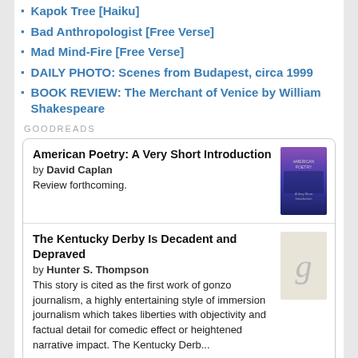Kapok Tree [Haiku]
Bad Anthropologist [Free Verse]
Mad Mind-Fire [Free Verse]
DAILY PHOTO: Scenes from Budapest, circa 1999
BOOK REVIEW: The Merchant of Venice by William Shakespeare
GOODREADS
American Poetry: A Very Short Introduction by David Caplan Review forthcoming.
The Kentucky Derby Is Decadent and Depraved by Hunter S. Thompson This story is cited as the first work of gonzo journalism, a highly entertaining style of immersion journalism which takes liberties with objectivity and factual detail for comedic effect or heightened narrative impact. The Kentucky Derb...
Scientific Self-Defense by W.E. Fairbairn Fairbairn was a fascinating character, and I read this